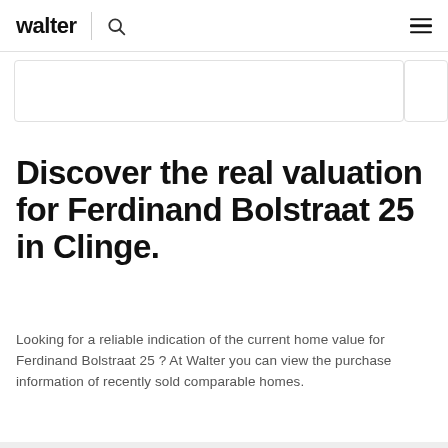walter
Discover the real valuation for Ferdinand Bolstraat 25 in Clinge.
Looking for a reliable indication of the current home value for Ferdinand Bolstraat 25 ? At Walter you can view the purchase information of recently sold comparable homes.